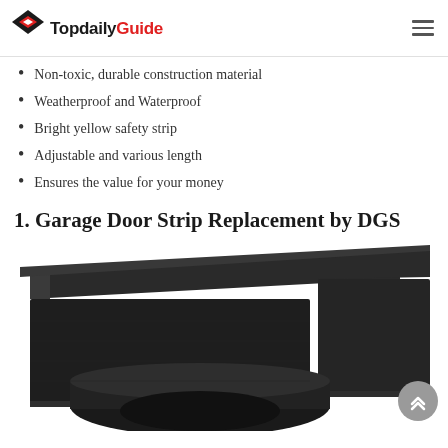TopdailyGuide
Non-toxic, durable construction material
Weatherproof and Waterproof
Bright yellow safety strip
Adjustable and various length
Ensures the value for your money
1. Garage Door Strip Replacement by DGS
[Figure (photo): Close-up product photo of a dark grey/black rubber garage door bottom seal strip with a cylindrical bulb seal, shown from an angled perspective against a white background.]